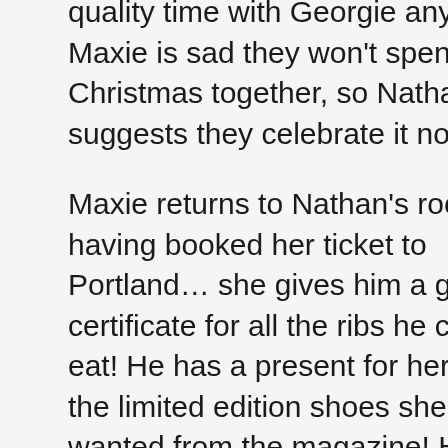quality time with Georgie anyway. Maxie is sad they won't spend Christmas together, so Nathan suggests they celebrate it now!
Maxie returns to Nathan's room, having booked her ticket to Portland… she gives him a gift certificate for all the ribs he can eat! He has a present for her… the limited edition shoes she wanted from the magazine! He had Lulu track them down for her, and she is totally worth it. He puts them on her and